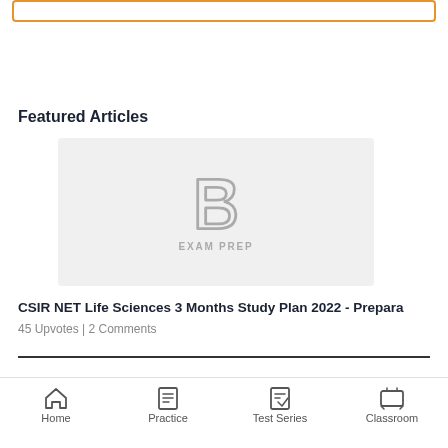[Figure (screenshot): Search bar with orange border at top]
Featured Articles
[Figure (logo): Byju's Exam Prep logo on grey background - stylized B letter with EXAM PREP text]
CSIR NET Life Sciences 3 Months Study Plan 2022 - Prepara
45 Upvotes | 2 Comments
CSIR NET & SET
Home  Practice  Test Series  Classroom